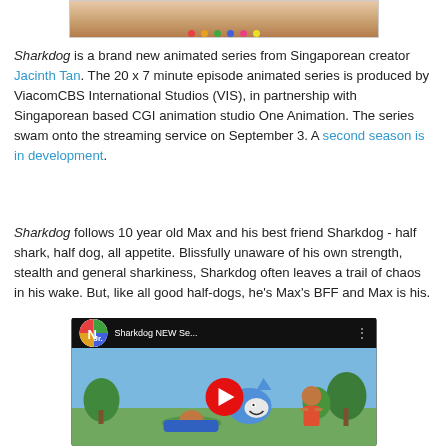[Figure (photo): Top portion of an animated scene from Sharkdog showing colorful candies/dots on a light background]
Sharkdog is a brand new animated series from Singaporean creator Jacinth Tan. The 20 x 7 minute episode animated series is produced by ViacomCBS International Studios (VIS), in partnership with Singaporean based CGI animation studio One Animation. The series swam onto the streaming service on September 3. A second season is in development.
Sharkdog follows 10 year old Max and his best friend Sharkdog - half shark, half dog, all appetite. Blissfully unaware of his own strength, stealth and general sharkiness, Sharkdog often leaves a trail of chaos in his wake. But, like all good half-dogs, he's Max's BFF and Max is his.
[Figure (screenshot): YouTube video thumbnail showing Sharkdog NEW Se... with Netflix Jr. logo, showing animated characters Sharkdog and Max on a beach scene with a YouTube play button overlay]